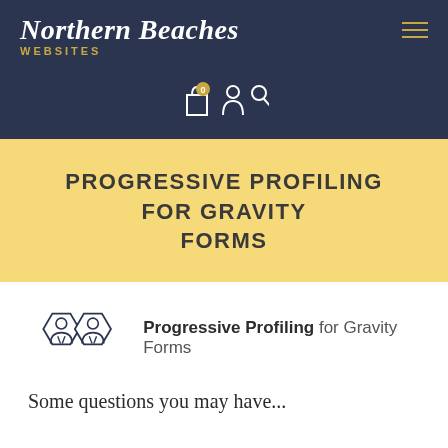Northern Beaches WEBSITES
[Figure (screenshot): Navigation icons: shopping bag with 0 badge, user icon, search icon]
PROGRESSIVE PROFILING FOR GRAVITY FORMS
[Figure (logo): Two hexagonal icons showing business person figures connected, labeled Progressive Profiling for Gravity Forms]
Some questions you may have...